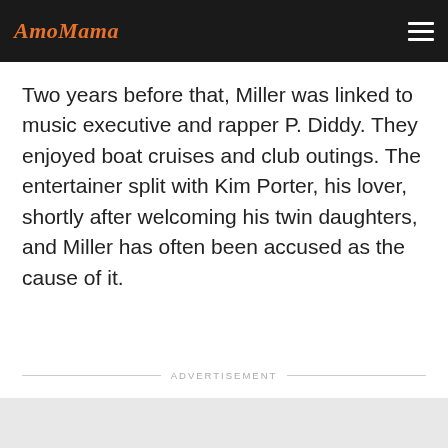AmoMama
Two years before that, Miller was linked to music executive and rapper P. Diddy. They enjoyed boat cruises and club outings. The entertainer split with Kim Porter, his lover, shortly after welcoming his twin daughters, and Miller has often been accused as the cause of it.
ADVERTISEMENT